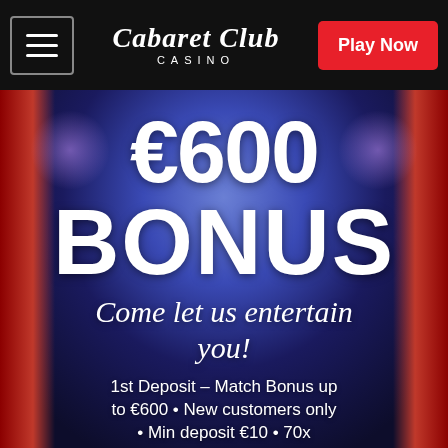[Figure (logo): Cabaret Club Casino logo in white script with CASINO text below]
€600 BONUS
Come let us entertain you!
1st Deposit – Match Bonus up to €600 • New customers only • Min deposit €10 • 70x